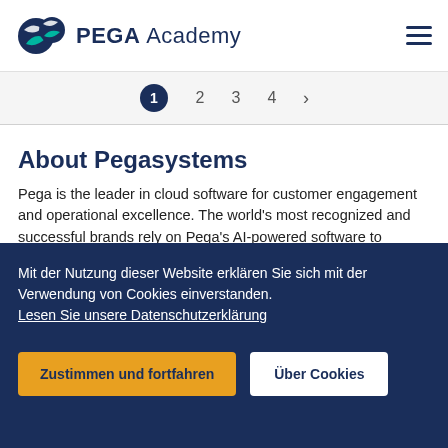PEGA Academy
[Figure (other): Pagination bar showing step 1 active (filled circle), steps 2, 3, 4, and a right arrow]
About Pegasystems
Pega is the leader in cloud software for customer engagement and operational excellence. The world's most recognized and successful brands rely on Pega's AI-powered software to optimize every customer interaction on any channel while ensuring their brand promises are kept. Pega's low-code application development platform allows
Mit der Nutzung dieser Website erklären Sie sich mit der Verwendung von Cookies einverstanden.
Lesen Sie unsere Datenschutzerklärung
Zustimmen und fortfahren  Über Cookies